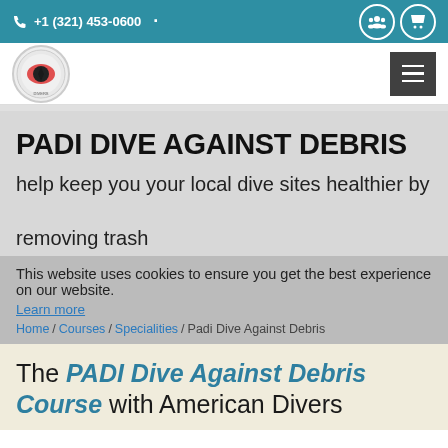+1 (321) 453-0600
[Figure (logo): American Divers International circular logo with red and white colors]
PADI DIVE AGAINST DEBRIS
help keep you your local dive sites healthier by removing trash
This website uses cookies to ensure you get the best experience on our website.
Learn more
Home / Courses / Specialities / Padi Dive Against Debris
The PADI Dive Against Debris Course with American Divers